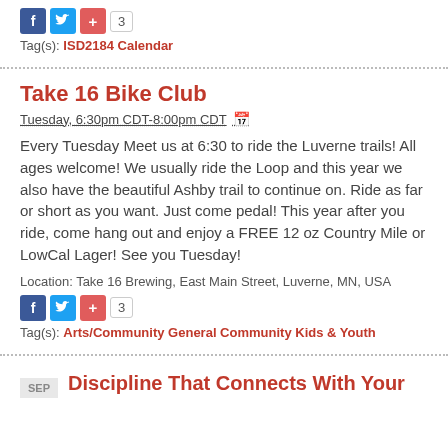Tag(s): ISD2184 Calendar
Take 16 Bike Club
Tuesday, 6:30pm CDT-8:00pm CDT
Every Tuesday Meet us at 6:30 to ride the Luverne trails! All ages welcome! We usually ride the Loop and this year we also have the beautiful Ashby trail to continue on. Ride as far or short as you want. Just come pedal! This year after you ride, come hang out and enjoy a FREE 12 oz Country Mile or LowCal Lager! See you Tuesday!
Location: Take 16 Brewing, East Main Street, Luverne, MN, USA
Tag(s): Arts/Community General Community Kids & Youth
Discipline That Connects With Your